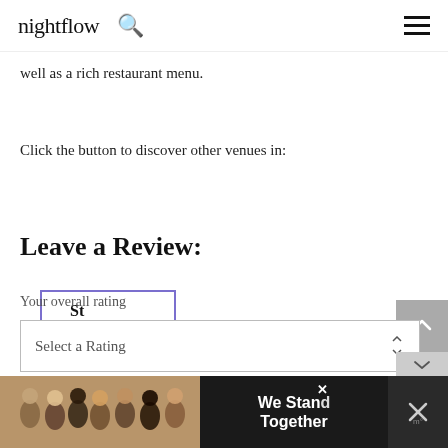nightflow
well as a rich restaurant menu.
Click the button to discover other venues in:
St Petersburg
Leave a Review:
Your overall rating
Select a Rating
Title of your review
[Figure (screenshot): Advertisement banner with group photo and text 'We Stand Together']